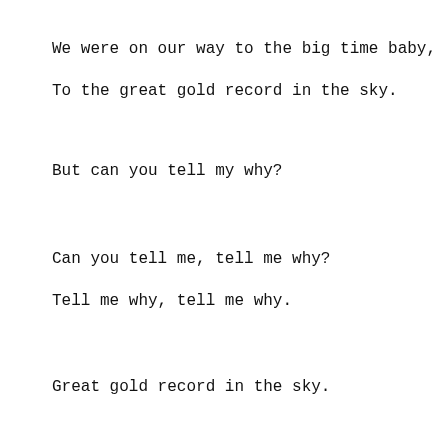We were on our way to the big time baby,
To the great gold record in the sky.
But can you tell my why?
Can you tell me, tell me why?
Tell me why, tell me why.
Great gold record in the sky.